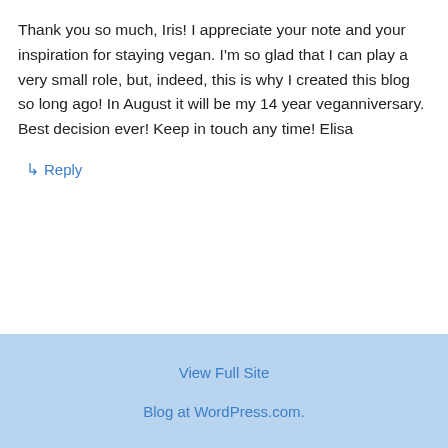Thank you so much, Iris! I appreciate your note and your inspiration for staying vegan. I'm so glad that I can play a very small role, but, indeed, this is why I created this blog so long ago! In August it will be my 14 year veganniversary. Best decision ever! Keep in touch any time! Elisa
↳ Reply
View Full Site
Blog at WordPress.com.